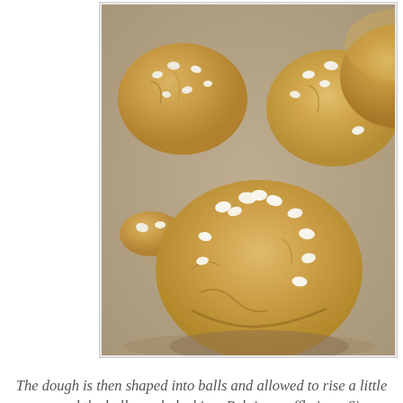[Figure (photo): Dough balls with pearl sugar on a flat surface, ready to be baked in a Belgian waffle iron. Multiple round balls of yeast dough studded with white pearl sugar pieces, photographed close-up on what appears to be a baking sheet or counter.]
The dough is then shaped into balls and allowed to rise a little more and the balls are baked in a Belgian waffle iron.  Since the dough is so thick, turn down the heat on the waffle iron and